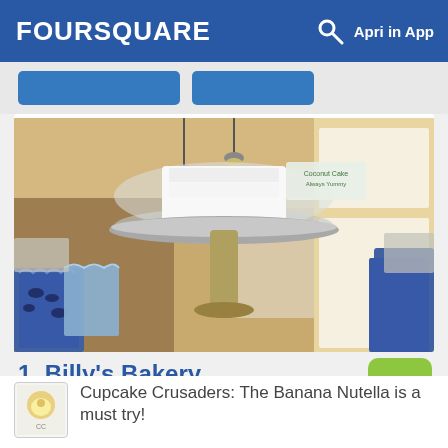FOURSQUARE  Apri in App
[Figure (screenshot): Foursquare app screenshot showing Billy's Bakery listing with a photo of a cake on a glass pedestal stand inside a bakery, colored blue and white display containers visible in background]
1. Billy's Bakery
75 Franklin St (btwn Church & Broadway), New York, NY
Panetteria · Tribeca · 60 consigli e recensioni
Cupcake Crusaders: The Banana Nutella is a must try!